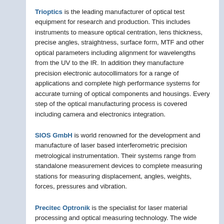Trioptics is the leading manufacturer of optical test equipment for research and production. This includes instruments to measure optical centration, lens thickness, precise angles, straightness, surface form, MTF and other optical parameters including alignment for wavelengths from the UV to the IR. In addition they manufacture precision electronic autocollimators for a range of applications and complete high performance systems for accurate turning of optical components and housings. Every step of the optical manufacturing process is covered including camera and electronics integration.
SIOS GmbH is world renowned for the development and manufacture of laser based interferometric precision metrological instrumentation. Their systems range from standalone measurement devices to complete measuring stations for measuring displacement, angles, weights, forces, pressures and vibration.
Precitec Optronik is the specialist for laser material processing and optical measuring technology. The wide range of